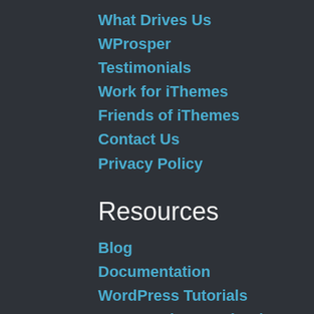What Drives Us
WProsper
Testimonials
Work for iThemes
Friends of iThemes
Contact Us
Privacy Policy
Resources
Blog
Documentation
WordPress Tutorials
Free WordPress Ebooks
How to Build a Website
WordPress Hosting
Students and Educators